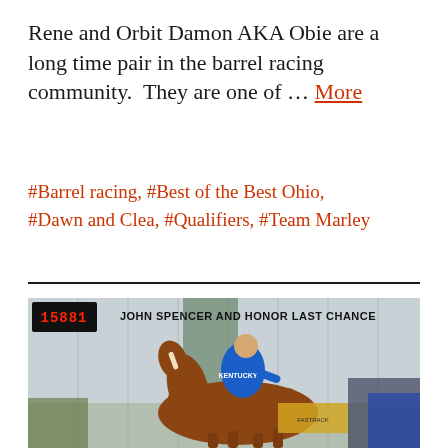Rene and Orbit Damon AKA Obie are a long time pair in the barrel racing community.  They are one of … More
#Barrel racing, #Best of the Best Ohio, #Dawn and Clea, #Qualifiers, #Team Marley
[Figure (photo): Photo of a rider in a blue Kentucky shirt on a chestnut horse with a blaze, riding in an indoor arena during a barrel racing event. A digital timer showing 15:88.1 is visible in the upper left. Text overlay reads JOHN SPENCER AND HONOR LAST CHANCE.]